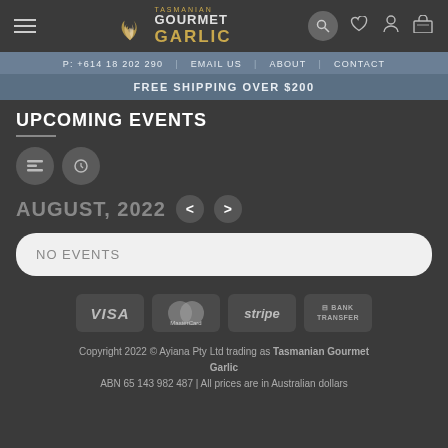[Figure (screenshot): Tasmanian Gourmet Garlic website navigation bar with hamburger menu, logo, and icons for search, wishlist, account, and cart]
P: +614 18 202 290  EMAIL US | ABOUT | CONTACT
FREE SHIPPING OVER $200
UPCOMING EVENTS
AUGUST, 2022
NO EVENTS
[Figure (logo): Payment method logos: VISA, MasterCard, stripe, Bank Transfer]
Copyright 2022 © Ayiana Pty Ltd trading as Tasmanian Gourmet Garlic
ABN 65 143 982 487 | All prices are in Australian dollars